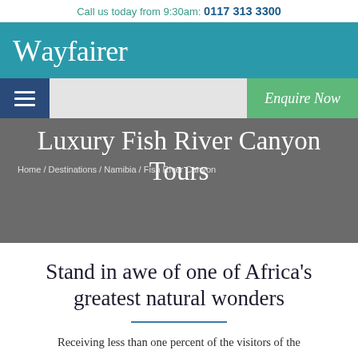Call us today from 9:30am: 0117 313 3300
Wayfairer
Enquire Now
Luxury Fish River Canyon Tours
Home / Destinations / Namibia / Fish River Canyon
Stand in awe of one of Africa's greatest natural wonders
Receiving less than one percent of the visitors of the